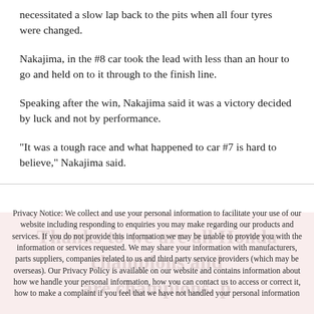necessitated a slow lap back to the pits when all four tyres were changed.
Nakajima, in the #8 car took the lead with less than an hour to go and held on to it through to the finish line.
Speaking after the win, Nakajima said it was a victory decided by luck and not by performance.
"It was a tough race and what happened to car #7 is hard to believe," Nakajima said.
Privacy Notice: We collect and use your personal information to facilitate your use of our website including responding to enquiries you may make regarding our products and services. If you do not provide this information we may be unable to provide you with the information or services requested. We may share your information with manufacturers, parts suppliers, companies related to us and third party service providers (which may be overseas). Our Privacy Policy is available on our website and contains information about how we handle your personal information, how you can contact us to access or correct it, how to make a complaint if you feel that we have not handled your personal information